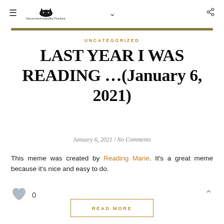NeverHollowedByTheSea blog header with hamburger menu, cat logo, chevron, and share icon
UNCATEGORIZED
LAST YEAR I WAS READING …(January 6, 2021)
January 6, 2021 / No Comments
This meme was created by Reading Marie. It's a great meme because it's nice and easy to do.
0
READ MORE